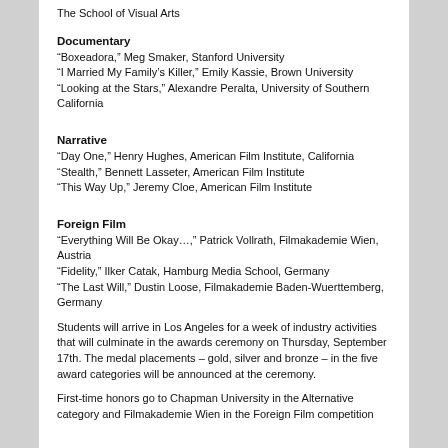The School of Visual Arts
Documentary
“Boxeadora,” Meg Smaker, Stanford University
“I Married My Family’s Killer,” Emily Kassie, Brown University
“Looking at the Stars,” Alexandre Peralta, University of Southern California
Narrative
“Day One,” Henry Hughes, American Film Institute, California
“Stealth,” Bennett Lasseter, American Film Institute
“This Way Up,” Jeremy Cloe, American Film Institute
Foreign Film
“Everything Will Be Okay…,” Patrick Vollrath, Filmakademie Wien, Austria
“Fidelity,” Ilker Catak, Hamburg Media School, Germany
“The Last Will,” Dustin Loose, Filmakademie Baden-Wuerttemberg, Germany
Students will arrive in Los Angeles for a week of industry activities that will culminate in the awards ceremony on Thursday, September 17th. The medal placements – gold, silver and bronze – in the five award categories will be announced at the ceremony.
First-time honors go to Chapman University in the Alternative category and Filmakademie Wien in the Foreign Film competition